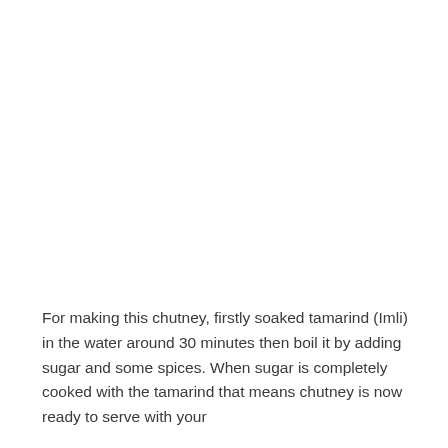For making this chutney, firstly soaked tamarind (Imli) in the water around 30 minutes then boil it by adding sugar and some spices. When sugar is completely cooked with the tamarind that means chutney is now ready to serve with your